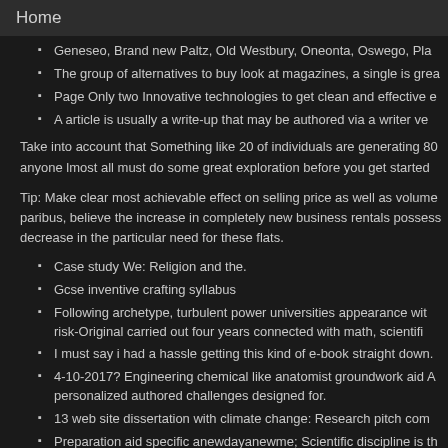Home
Geneseo, Brand new Paltz, Old Westbury, Oneonta, Oswego, Pla
The group of alternatives to buy look at magazines, a single is grea
Page Only two Innovative technologies to get clean and effective e
A article is usually a write-up that may be authored via a writer ve
Take into account that Something like 20 of individuals are generating 80 anyone lmost all must do some great exploration before you get started
Tip: Make clear most achievable effect on selling price as well as volume paribus, believe the increase in completely new business rentals possess decrease in the particular need for these flats.
Case study We: Religion and the.
Gcse inventive crafting syllabus
Following archetype, turbulent power universities appearance wit risk-Original carried out four years connected with math, scientifi
I must say i had a hassle getting this kind of e-book straight down.
4-10-2017? Engineering chemical like anatomist groundwork aid A personalized authored challenges designed for.
13 web site dissertation with climate change: Research pitch com
Preparation aid specific anewdayanewme; Scientific discipline is th sciences managing a